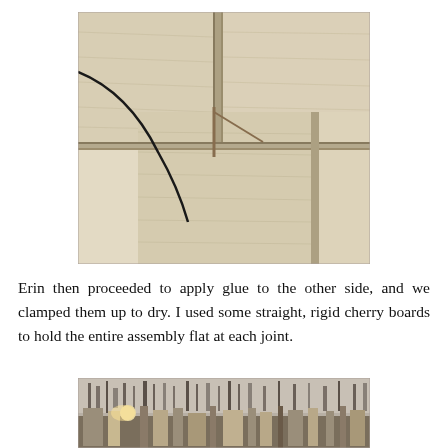[Figure (photo): Close-up photo of wooden panels/boards laid flat on a light-colored surface, showing wood grain with seams/joints between boards and what appears to be a curved black line (possibly a cord or cable) visible on the left side.]
Erin then proceeded to apply glue to the other side, and we clamped them up to dry. I used some straight, rigid cherry boards to hold the entire assembly flat at each joint.
[Figure (photo): Photo of a workshop interior showing workbench with various tools, bottles, and woodworking equipment scattered around. Workshop walls visible with tools and supplies in the background.]